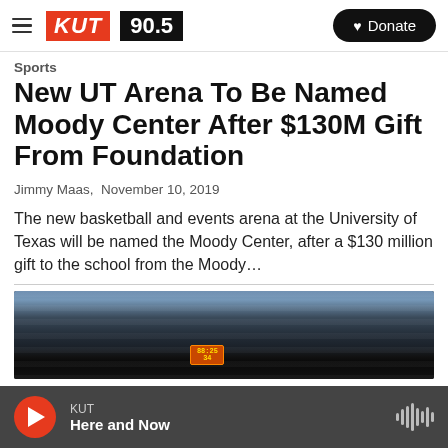KUT 90.5 | Donate
Sports
New UT Arena To Be Named Moody Center After $130M Gift From Foundation
Jimmy Maas,  November 10, 2019
The new basketball and events arena at the University of Texas will be named the Moody Center, after a $130 million gift to the school from the Moody…
[Figure (photo): Crowd at a basketball arena with scoreboard visible at bottom center]
KUT Here and Now